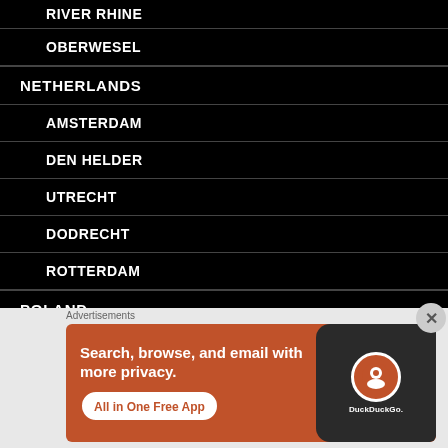RIVER RHINE
OBERWESEL
NETHERLANDS
AMSTERDAM
DEN HELDER
UTRECHT
DODRECHT
ROTTERDAM
POLAND
Advertisements
[Figure (other): DuckDuckGo advertisement banner: Search, browse, and email with more privacy. All in One Free App. Shows DuckDuckGo app on a phone screen.]